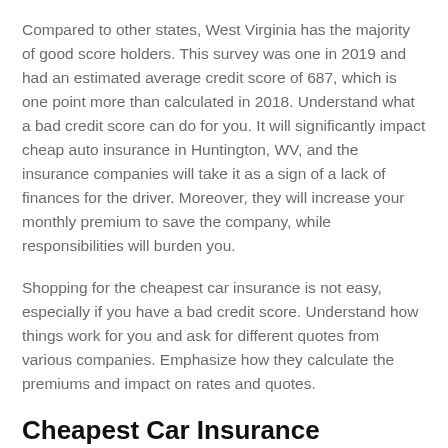Compared to other states, West Virginia has the majority of good score holders. This survey was one in 2019 and had an estimated average credit score of 687, which is one point more than calculated in 2018. Understand what a bad credit score can do for you. It will significantly impact cheap auto insurance in Huntington, WV, and the insurance companies will take it as a sign of a lack of finances for the driver. Moreover, they will increase your monthly premium to save the company, while responsibilities will burden you.
Shopping for the cheapest car insurance is not easy, especially if you have a bad credit score. Understand how things work for you and ask for different quotes from various companies. Emphasize how they calculate the premiums and impact on rates and quotes.
Cheapest Car Insurance Companies In Huntington WV For Seniors